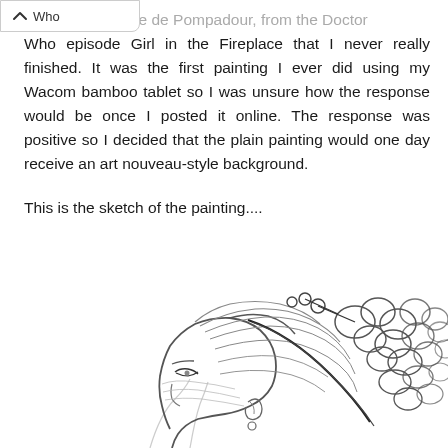↑ [navigation bar]
... limp of Madame de Pompadour, from the Doctor Who episode Girl in the Fireplace that I never really finished. It was the first painting I ever did using my Wacom bamboo tablet so I was unsure how the response would be once I posted it online. The response was positive so I decided that the plain painting would one day receive an art nouveau-style background.
This is the sketch of the painting....
[Figure (illustration): A pencil sketch of a woman's face and hair in profile/three-quarter view, with elaborate curly updo hairstyle with decorative pins, drawn in loose sketch lines on white background.]